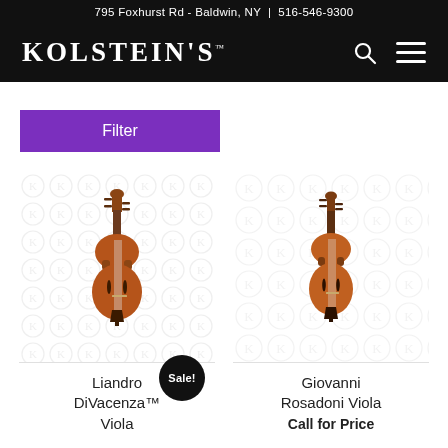795 Foxhurst Rd - Baldwin, NY | 516-546-9300
KOLSTEIN'S
Filter
[Figure (photo): Liandro DiVacenza viola instrument on watermarked background with Sale badge]
Liandro DiVacenza™ Viola
[Figure (photo): Giovanni Rosadoni Viola instrument on watermarked background]
Giovanni Rosadoni Viola
Call for Price